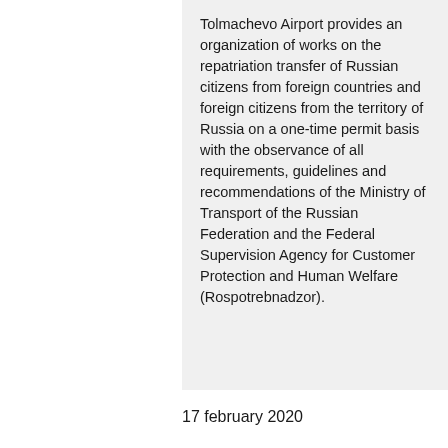Tolmachevo Airport provides an organization of works on the repatriation transfer of Russian citizens from foreign countries and foreign citizens from the territory of Russia on a one-time permit basis with the observance of all requirements, guidelines and recommendations of the Ministry of Transport of the Russian Federation and the Federal Supervision Agency for Customer Protection and Human Welfare (Rospotrebnadzor).
17 february 2020